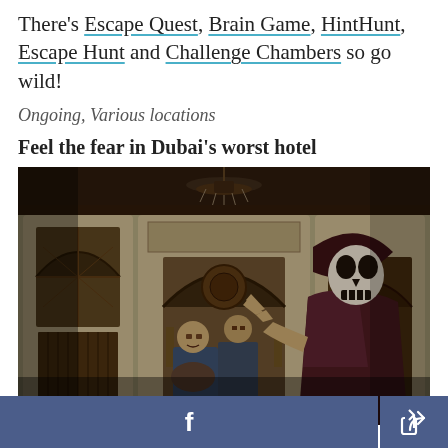There's Escape Quest, Brain Game, HintHunt, Escape Hunt and Challenge Chambers so go wild!
Ongoing, Various locations
Feel the fear in Dubai's worst hotel
[Figure (photo): Dark horror-themed hotel room scene with costumed characters including a skull-masked figure in a dark hooded robe pointing at the camera, and zombie-like figures seated in the background. Gothic arched doorways and dim lighting create an eerie atmosphere.]
Facebook share button and general share button